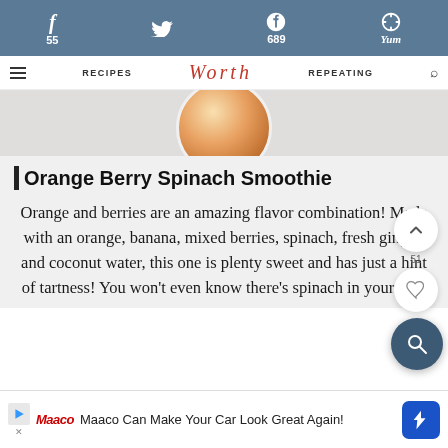f 55  [twitter]  689  p  Yum
RECIPES  Worth REPEATING  [search]
[Figure (photo): Partial view of an orange berry spinach smoothie in a glass, viewed from above]
Orange Berry Spinach Smoothie
Orange and berries are an amazing flavor combination! Made with an orange, banana, mixed berries, spinach, fresh ginger, and coconut water, this one is plenty sweet and has just a hint of tartness! You won't even know there's spinach in your cup.
Maaco Can Make Your Car Look Great Again!